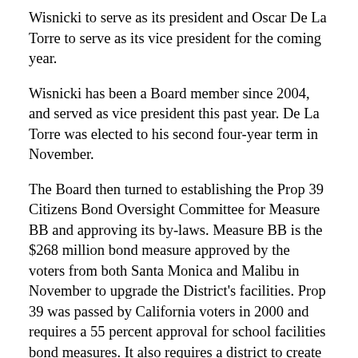Wisnicki to serve as its president and Oscar De La Torre to serve as its vice president for the coming year.
Wisnicki has been a Board member since 2004, and served as vice president this past year. De La Torre was elected to his second four-year term in November.
The Board then turned to establishing the Prop 39 Citizens Bond Oversight Committee for Measure BB and approving its by-laws. Measure BB is the $268 million bond measure approved by the voters from both Santa Monica and Malibu in November to upgrade the District's facilities. Prop 39 was passed by California voters in 2000 and requires a 55 percent approval for school facilities bond measures. It also requires a district to create and recruit a very specific type of seven-member Citizens Bond Oversight Committee to give input to its board to make sure the bond funds are spent on the items approved by the voters. Due to this, the SMMUSD's Board agreed with Board member Jose Escarce that, "Inevitably we're going to have to have two committees because this